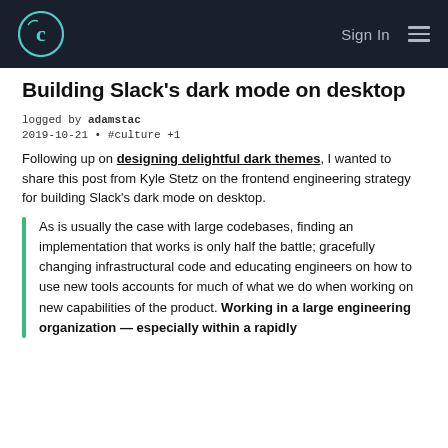Sign In
Building Slack's dark mode on desktop
logged by adamstac
2019-10-21 • #culture +1
Following up on designing delightful dark themes, I wanted to share this post from Kyle Stetz on the frontend engineering strategy for building Slack's dark mode on desktop.
As is usually the case with large codebases, finding an implementation that works is only half the battle; gracefully changing infrastructural code and educating engineers on how to use new tools accounts for much of what we do when working on new capabilities of the product. Working in a large engineering organization — especially within a rapidly